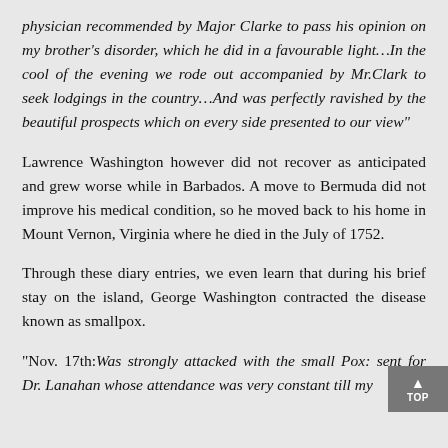physician recommended by Major Clarke to pass his opinion on my brother's disorder, which he did in a favourable light…In the cool of the evening we rode out accompanied by Mr.Clark to seek lodgings in the country…And was perfectly ravished by the beautiful prospects which on every side presented to our view"
Lawrence Washington however did not recover as anticipated and grew worse while in Barbados. A move to Bermuda did not improve his medical condition, so he moved back to his home in Mount Vernon, Virginia where he died in the July of 1752.
Through these diary entries, we even learn that during his brief stay on the island, George Washington contracted the disease known as smallpox.
"Nov. 17th:Was strongly attacked with the small Pox: sent for Dr. Lanahan whose attendance was very constant till my